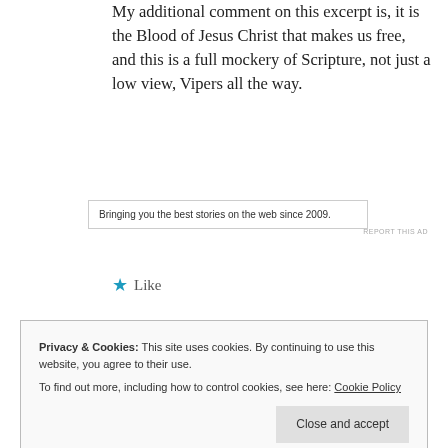My additional comment on this excerpt is, it is the Blood of Jesus Christ that makes us free, and this is a full mockery of Scripture, not just a low view, Vipers all the way.
★ Like
Reply
Bringing you the best stories on the web since 2009.
REPORT THIS AD
Privacy & Cookies: This site uses cookies. By continuing to use this website, you agree to their use.
To find out more, including how to control cookies, see here: Cookie Policy
Close and accept
The Demons mock and Laugh at Jesus and the proselytes agree. Halal U Yah